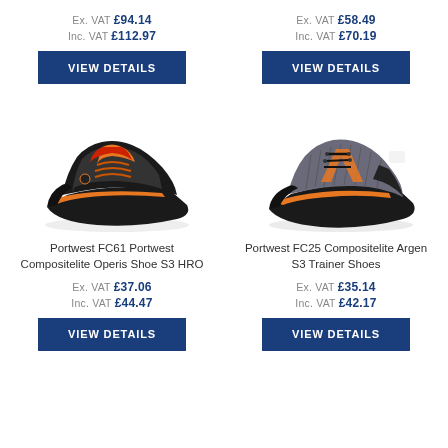Ex. VAT £94.14
Inc. VAT £112.97
VIEW DETAILS
Ex. VAT £58.49
Inc. VAT £70.19
VIEW DETAILS
[Figure (photo): Portwest FC61 black and orange composite safety shoe with hiking-style design]
Portwest FC61 Portwest Compositelite Operis Shoe S3 HRO
Ex. VAT £37.06
Inc. VAT £44.47
VIEW DETAILS
[Figure (photo): Portwest FC25 grey and orange composite lite trainer safety shoe]
Portwest FC25 Compositelite Argen S3 Trainer Shoes
Ex. VAT £35.14
Inc. VAT £42.17
VIEW DETAILS